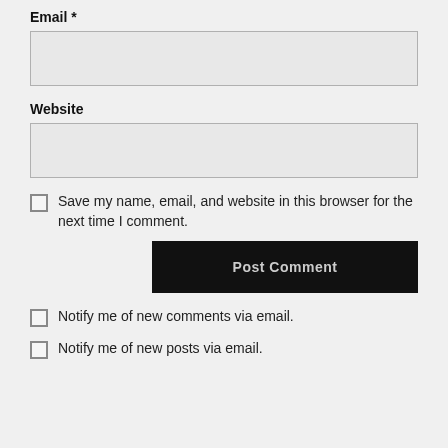Email *
(email input field)
Website
(website input field)
Save my name, email, and website in this browser for the next time I comment.
Post Comment
Notify me of new comments via email.
Notify me of new posts via email.